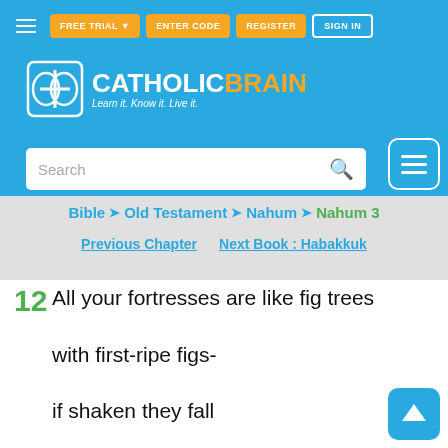CatholicBrain - Learn it. Know it. Live it.
Bible > Old Testament > Nahum > Nahum 3
Previous Chapter   Next Book : Habakkuk
12 All your fortresses are like fig trees with first-ripe figs- if shaken they fall into the mouth of the eater.